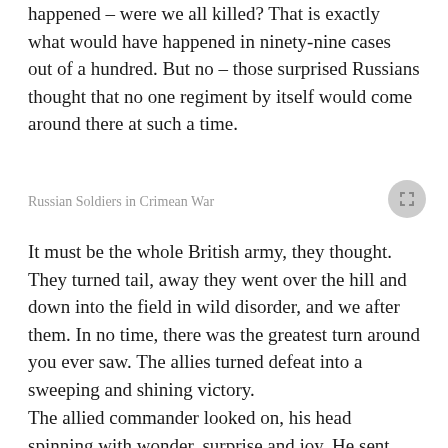happened – were we all killed? That is exactly what would have happened in ninety-nine cases out of a hundred. But no – those surprised Russians thought that no one regiment by itself would come around there at such a time.
Russian Soldiers in Crimean War
It must be the whole British army, they thought. They turned tail, away they went over the hill and down into the field in wild disorder, and we after them. In no time, there was the greatest turn around you ever saw. The allies turned defeat into a sweeping and shining victory.
The allied commander looked on, his head spinning with wonder, surprise and joy. He sent right off for